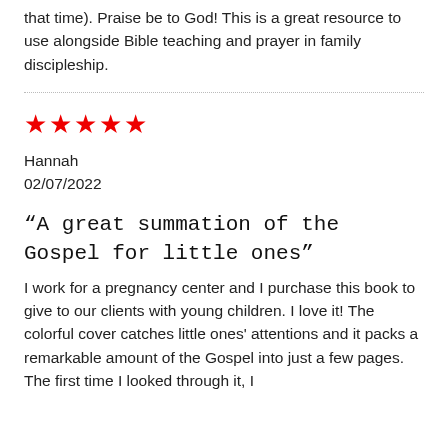that time). Praise be to God! This is a great resource to use alongside Bible teaching and prayer in family discipleship.
[Figure (other): Dotted horizontal divider line]
[Figure (other): Five red star rating icons]
Hannah
02/07/2022
“A great summation of the Gospel for little ones”
I work for a pregnancy center and I purchase this book to give to our clients with young children. I love it! The colorful cover catches little ones' attentions and it packs a remarkable amount of the Gospel into just a few pages. The first time I looked through it, I